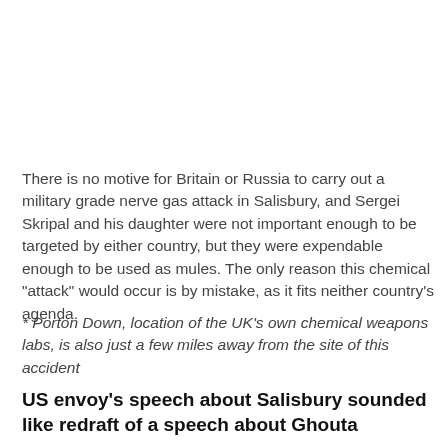There is no motive for Britain or Russia to carry out a military grade nerve gas attack in Salisbury, and Sergei Skripal and his daughter were not important enough to be targeted by either country, but they were expendable enough to be used as mules. The only reason this chemical "attack" would occur is by mistake, as it fits neither country's agenda.
* Porton Down, location of the UK's own chemical weapons labs, is also just a few miles away from the site of this accident
US envoy's speech about Salisbury sounded like redraft of a speech about Ghouta